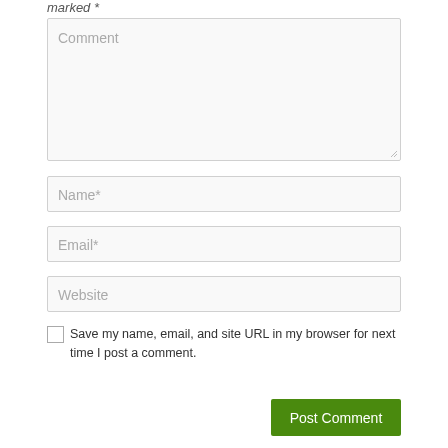marked *
Comment
Name*
Email*
Website
Save my name, email, and site URL in my browser for next time I post a comment.
Post Comment